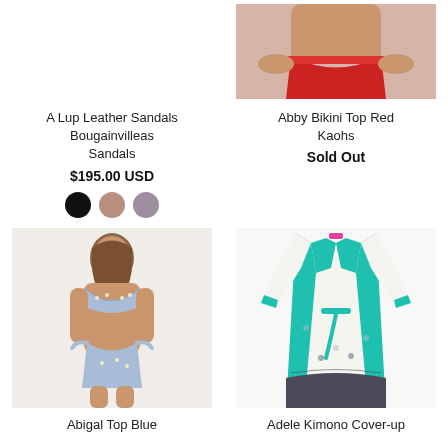[Figure (photo): Cropped photo of person wearing red bikini bottom, torso view]
A Lup Leather Sandals
Bougainvilleas
Sandals
Abby Bikini Top Red
Kaohs
$195.00 USD
Sold Out
[Figure (photo): Color swatches: black, mauve/tan, gray/purple]
[Figure (photo): Woman wearing blue floral bikini top and bottoms with tie sides]
[Figure (photo): White and teal kimono cover-up with dark printed hem]
Abigal Top Blue
Adele Kimono Cover-up